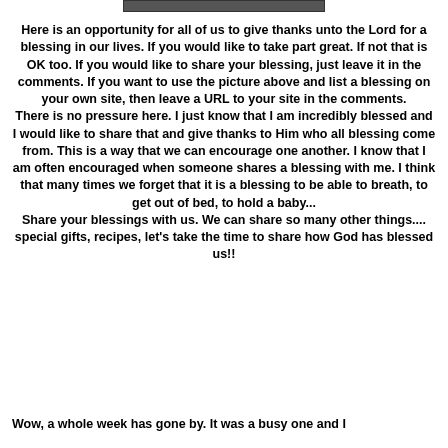[Figure (other): Small image bar at top of page]
Here is an opportunity for all of us to give thanks unto the Lord for a blessing in our lives. If you would like to take part great. If not that is OK too. If you would like to share your blessing, just leave it in the comments. If you want to use the picture above and list a blessing on your own site, then leave a URL to your site in the comments. There is no pressure here. I just know that I am incredibly blessed and I would like to share that and give thanks to Him who all blessing come from. This is a way that we can encourage one another. I know that I am often encouraged when someone shares a blessing with me. I think that many times we forget that it is a blessing to be able to breath, to get out of bed, to hold a baby... Share your blessings with us. We can share so many other things.... special gifts, recipes, let's take the time to share how God has blessed us!!
Wow, a whole week has gone by. It was a busy one and I